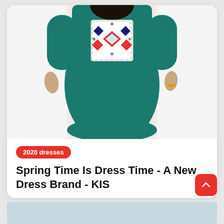[Figure (photo): A woman wearing a teal/dark green bodycon dress with colorful embroidered geometric pattern panel on the chest. The photo shows the body from shoulders to thighs against a white background.]
2020 dresses
Spring Time Is Dress Time - A New Dress Brand - KIS
Springtime is the dress time for me. Is it for you too? It is not very practical to wear dresses in daily life in winter, b…
by Deria · 25 March